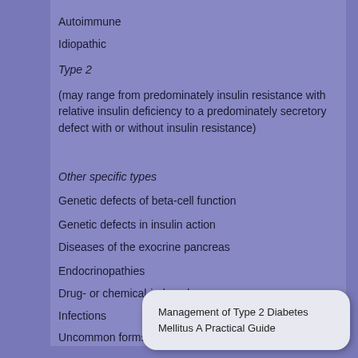Autoimmune
Idiopathic
Type 2
(may range from predominately insulin resistance with relative insulin deficiency to a predominately secretory defect with or without insulin resistance)
Other specific types
Genetic defects of beta-cell function
Genetic defects in insulin action
Diseases of the exocrine pancreas
Endocrinopathies
Drug- or chemical-induced
Infections
Uncommon forms of immune-mediated diabetes
Other genetic syndromes sometimes associated with diabetes
Gestational dia... impaired glucose...
Management of Type 2 Diabetes Mellitus A Practical Guide